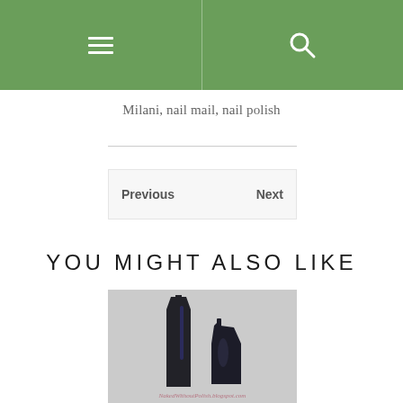≡  🔍
Milani, nail mail, nail polish
Previous  Next
YOU MIGHT ALSO LIKE
[Figure (photo): Two dark nail polish bottles of different sizes on a light grey background, with a script watermark reading NakedWithoutPolish.blogspot.com]